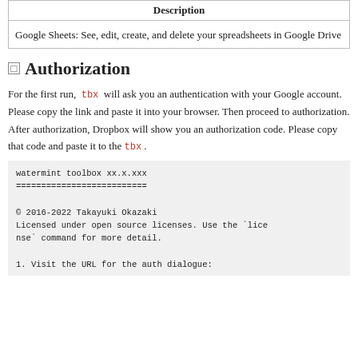| Description |
| --- |
| Google Sheets: See, edit, create, and delete your spreadsheets in Google Drive |
Authorization
For the first run, tbx will ask you an authentication with your Google account. Please copy the link and paste it into your browser. Then proceed to authorization. After authorization, Dropbox will show you an authorization code. Please copy that code and paste it to the tbx .
watermint toolbox xx.x.xxx
==========================

© 2016-2022 Takayuki Okazaki
Licensed under open source licenses. Use the `license` command for more detail.

1. Visit the URL for the auth dialogue: